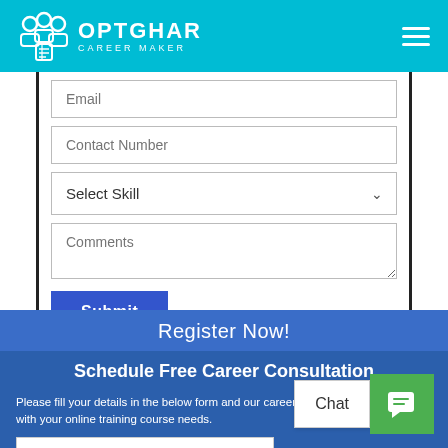[Figure (logo): OptGhar Career Maker logo with teal header bar and hamburger menu]
Email
Contact Number
Select Skill
Comments
Submit
Register Now!
Schedule Free Career Consultation
Please fill your details in the below form and our career advisors will assist you with your online training course needs.
Your Name
Your Email